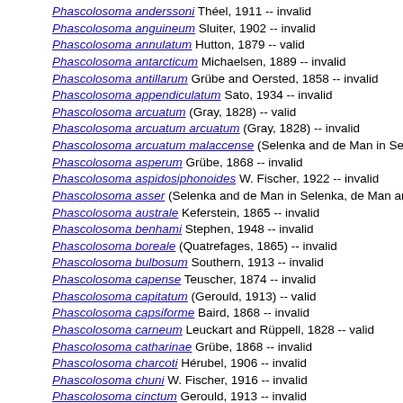Phascolosoma anderssoni Théel, 1911 -- invalid
Phascolosoma anguineum Sluiter, 1902 -- invalid
Phascolosoma annulatum Hutton, 1879 -- valid
Phascolosoma antarcticum Michaelsen, 1889 -- invalid
Phascolosoma antillarum Grübe and Oersted, 1858 -- invalid
Phascolosoma appendiculatum Sato, 1934 -- invalid
Phascolosoma arcuatum (Gray, 1828) -- valid
Phascolosoma arcuatum arcuatum (Gray, 1828) -- invalid
Phascolosoma arcuatum malaccense (Selenka and de Man in Selenka, de Ma
Phascolosoma asperum Grübe, 1868 -- invalid
Phascolosoma aspidosiphonoides W. Fischer, 1922 -- invalid
Phascolosoma asser (Selenka and de Man in Selenka, de Man and Bülow, 18
Phascolosoma australe Keferstein, 1865 -- invalid
Phascolosoma benhami Stephen, 1948 -- invalid
Phascolosoma boreale (Quatrefages, 1865) -- invalid
Phascolosoma bulbosum Southern, 1913 -- invalid
Phascolosoma capense Teuscher, 1874 -- invalid
Phascolosoma capitatum (Gerould, 1913) -- valid
Phascolosoma capsiforme Baird, 1868 -- invalid
Phascolosoma carneum Leuckart and Rüppell, 1828 -- valid
Phascolosoma catharinae Grübe, 1868 -- invalid
Phascolosoma charcoti Hérubel, 1906 -- invalid
Phascolosoma chuni W. Fischer, 1916 -- invalid
Phascolosoma cinctum Gerould, 1913 -- invalid
Phascolosoma cinereum Gerould, 1913 -- invalid
Phascolosoma cluthensis Stephen, 1931 -- invalid
Phascolosoma cochlearium (Valenciennes, 1854) -- invalid
Phascolosoma commune Keferstein, 1863 -- invalid
Phascolosoma confusum Sluiter, 1902 -- invalid
Phascolosoma constellatum (Quatrefages, 1865) -- valid
Phascolosoma constrictum Southern, 1913 -- invalid
Phascolosoma corallicolum (ten Broeke, 1925) -- valid